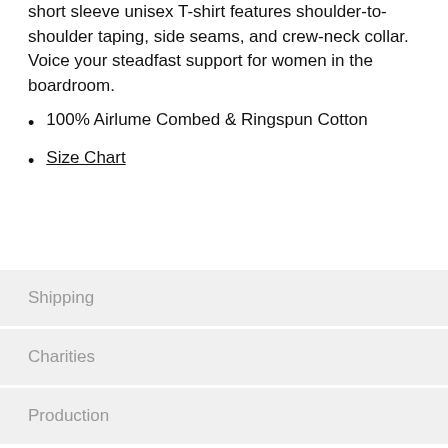short sleeve unisex T-shirt features shoulder-to-shoulder taping, side seams, and crew-neck collar. Voice your steadfast support for women in the boardroom.
100% Airlume Combed & Ringspun Cotton
Size Chart
Shipping
Charities
Production